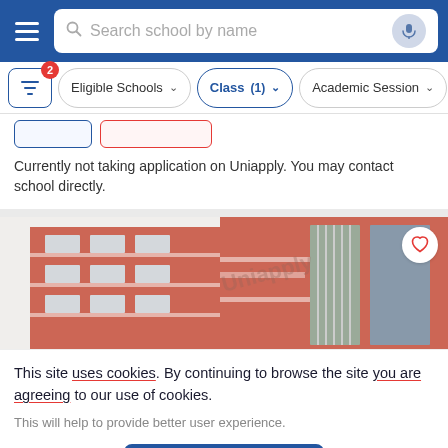Search school by name
Eligible Schools | Class (1) | Academic Session
Currently not taking application on Uniapply. You may contact school directly.
[Figure (photo): Photo of a red/orange multi-storey school building with white balcony railings, viewed from a low angle against a white sky. Watermark text 'Uniapply' overlaid on image.]
This site uses cookies. By continuing to browse the site you are agreeing to our use of cookies.
This will help to provide better user experience.
Ok, I Understand